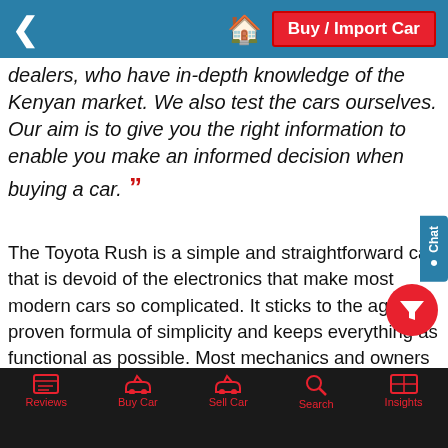Buy / Import Car
dealers, who have in-depth knowledge of the Kenyan market. We also test the cars ourselves. Our aim is to give you the right information to enable you make an informed decision when buying a car.
The Toyota Rush is a simple and straightforward car that is devoid of the electronics that make most modern cars so complicated. It sticks to the age proven formula of simplicity and keeps everything as functional as possible. Most mechanics and owners we interviewed have nothing but praise and they would highly recommend it. We always advise that you thoroughly read the Owner's Manual as it contains vital information on how the car should be handled. To download the 2012 Toyota Rush Owner's Manual, click here.
Reviews | Buy Car | Sell Car | Search | Insights